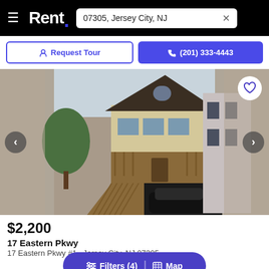Rent. — 07305, Jersey City, NJ
Request Tour   (201) 333-4443
[Figure (photo): Exterior photo of a two-story residential house with a front porch, staircase, and a black SUV parked in the driveway/garage area. Navigation arrows on left and right, heart/favorite button on top right.]
$2,200
17 Eastern Pkwy
17 Eastern Pkwy #1  Jersey City, NJ 07305
Filters (4)   Map